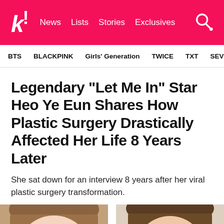k! News Lists Stories Exclusives
BTS BLACKPINK Girls' Generation TWICE TXT SEVE
Legendary “Let Me In” Star Heo Ye Eun Shares How Plastic Surgery Drastically Affected Her Life 8 Years Later
She sat down for an interview 8 years after her viral plastic surgery transformation.
[Figure (photo): Two side-by-side photos of a woman (Heo Ye Eun), partially cropped, showing before and after plastic surgery transformation]